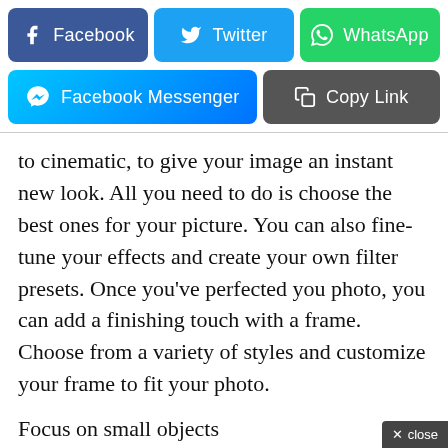[Figure (screenshot): Social share buttons row 1: Facebook (dark blue), Twitter (light blue), WhatsApp (green)]
[Figure (screenshot): Social share buttons row 2: Facebook Messenger (blue gradient), Copy Link (dark gray)]
to cinematic, to give your image an instant new look. All you need to do is choose the best ones for your picture. You can also fine-tune your effects and create your own filter presets. Once you’ve perfected you photo, you can add a finishing touch with a frame. Choose from a variety of styles and customize your frame to fit your photo.
Focus on small objects
Create perfect close-up shots by zooming in and focusing on specific details in your photos